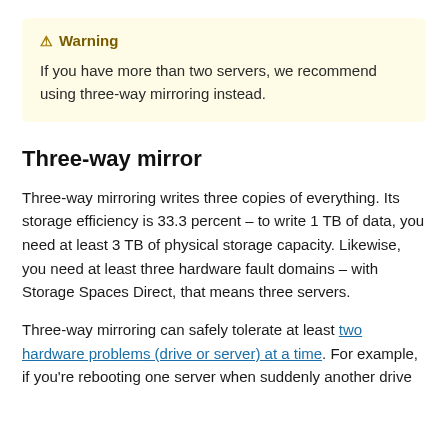⚠ Warning
If you have more than two servers, we recommend using three-way mirroring instead.
Three-way mirror
Three-way mirroring writes three copies of everything. Its storage efficiency is 33.3 percent – to write 1 TB of data, you need at least 3 TB of physical storage capacity. Likewise, you need at least three hardware fault domains – with Storage Spaces Direct, that means three servers.
Three-way mirroring can safely tolerate at least two hardware problems (drive or server) at a time. For example, if you're rebooting one server when suddenly another drive